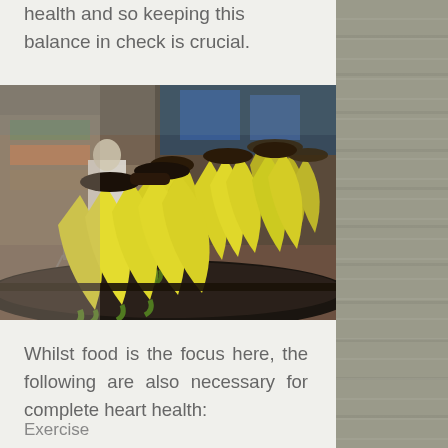health and so keeping this balance in check is crucial.
[Figure (photo): Rows of yellow bananas on display shelves in a supermarket/grocery store, with a blurred person in the background pushing a shopping cart past produce displays.]
Whilst food is the focus here, the following are also necessary for complete heart health:
Exercise